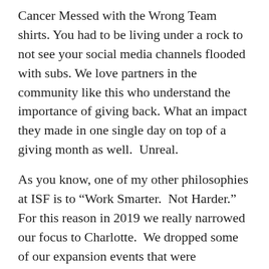Cancer Messed with the Wrong Team shirts. You had to be living under a rock to not see your social media channels flooded with subs. We love partners in the community like this who understand the importance of giving back. What an impact they made in one single day on top of a giving month as well.  Unreal.
As you know, one of my other philosophies at ISF is to “Work Smarter.  Not Harder.”  For this reason in 2019 we really narrowed our focus to Charlotte.  We dropped some of our expansion events that were successful, but lots of work and travel.  Instead, we are looking to grow our reach in the Charlotte community.  I feel like the impact we are making here in Charlotte at Levine’s over the next 5 years should be